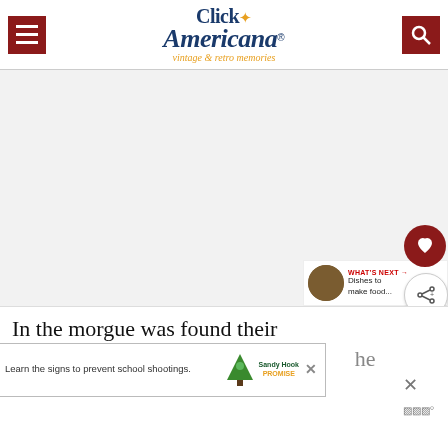Click Americana® vintage & retro memories
[Figure (screenshot): Large white/light gray image placeholder area]
[Figure (other): Dark red circular heart button (save/favorite) on the right side]
[Figure (other): White circular share button with share icon on the right side]
[Figure (other): What's Next bar showing thumbnail and text 'Dishes to make food...']
In the morgue was found their
ju... he... b...
[Figure (screenshot): Advertisement banner: 'Learn the signs to prevent school shootings.' with Sandy Hook Promise logo and tree graphic. Close button (X) visible.]